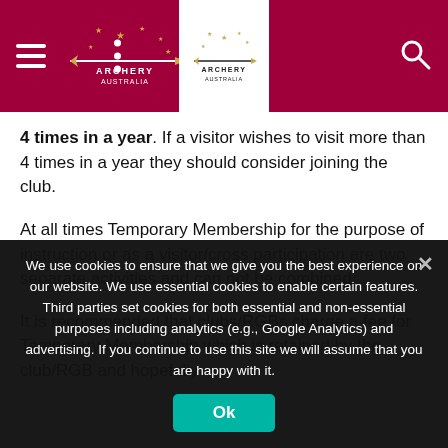Archery Australia website header with navigation
4 times in a year. If a visitor wishes to visit more than 4 times in a year they should consider joining the club.
At all times Temporary Membership for the purpose of instruction or as a visitor/cross participation are two separate activities and can not be combined .
It is recommended that clubs/RGBs charge a fee for Temporary Membership which is retained by the club/RGB and hopefully
We use cookies to ensure that we give you the best experience on our website. We use essential cookies to enable certain features. Third parties set cookies for both essential and non-essential purposes including analytics (e.g., Google Analytics) and advertising. If you continue to use this site we will assume that you are happy with it.